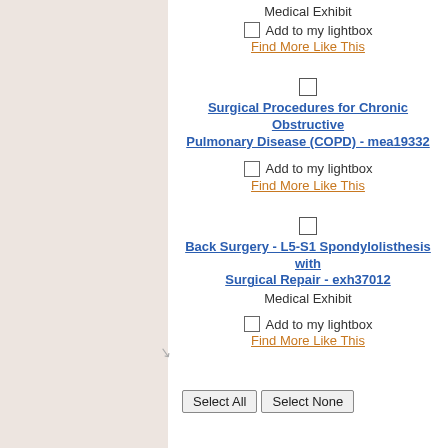Medical Exhibit
Add to my lightbox
Find More Like This
Surgical Procedures for Chronic Obstructive Pulmonary Disease (COPD) - mea19332
Add to my lightbox
Find More Like This
Back Surgery - L5-S1 Spondylolisthesis with Surgical Repair - exh37012
Medical Exhibit
Add to my lightbox
Find More Like This
Select All
Select None